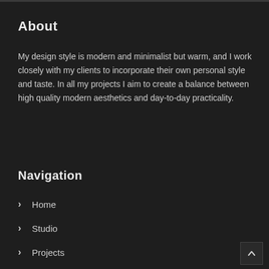About
My design style is modern and minimalist but warm, and I work closely with my clients to incorporate their own personal style and taste. In all my projects I aim to create a balance between high quality modern aesthetics and day-to-day practicality.
Navigation
> Home
> Studio
> Projects